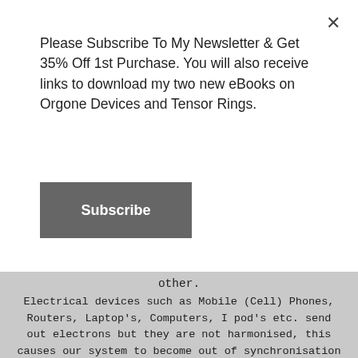Please Subscribe To My Newsletter & Get 35% Off 1st Purchase. You will also receive links to download my two new eBooks on Orgone Devices and Tensor Rings.
Subscribe
other.
Electrical devices such as Mobile (Cell) Phones, Routers, Laptop's, Computers, I pod's etc. send out electrons but they are not harmonised, this causes our system to become out of synchronisation causing us to become stressed, develop illnesses, more allergies, put on weight along with many other issues.
Crystals and anything from the earth possesses harmonised electrons this is why Photon Orgone have many of them in orgonites due to the volume of